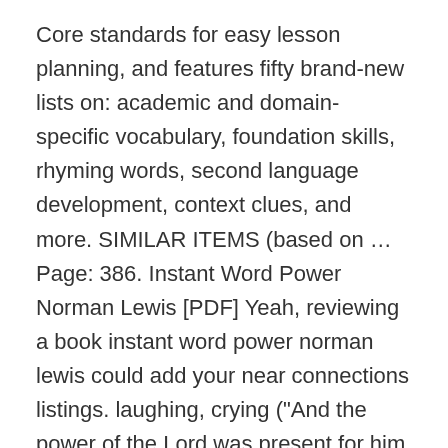Core standards for easy lesson planning, and features fifty brand-new lists on: academic and domain-specific vocabulary, foundation skills, rhyming words, second language development, context clues, and more. SIMILAR ITEMS (based on … Page: 386. Instant Word Power Norman Lewis [PDF] Yeah, reviewing a book instant word power norman lewis could add your near connections listings. laughing, crying ("And the power of the Lord was present for him to heal the sick" Luke 5:17; "Be still before the Lord and wait patiently for him" Ps. To conquer the spelling of an new word and thus feel as comfortable with it in your writing as in your speech, learn to look at it, critically noting any peculiarities that are caused by its etymology, the derivation of English words from Greek and Latin roots, prefixes and suffixes. Word Power Made Easy PDF is divided into Three Parts to make it easy to